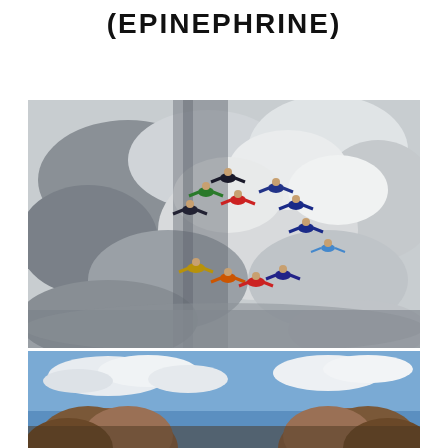(EPINEPHRINE)
[Figure (photo): Skydivers in colorful suits forming a circle formation against a cloudy grey-white sky backdrop, aerial view, multiple skydivers holding hands in a ring shape mid-air]
[Figure (photo): Partial view of a photo showing blue sky with clouds and what appears to be brown rocky formations or structures at the bottom edge]